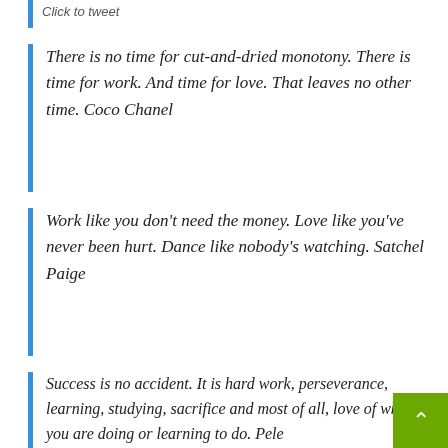Click to tweet
There is no time for cut-and-dried monotony. There is time for work. And time for love. That leaves no other time. Coco Chanel
Work like you don't need the money. Love like you've never been hurt. Dance like nobody's watching. Satchel Paige
Success is no accident. It is hard work, perseverance, learning, studying, sacrifice and most of all, love of what you are doing or learning to do. Pele